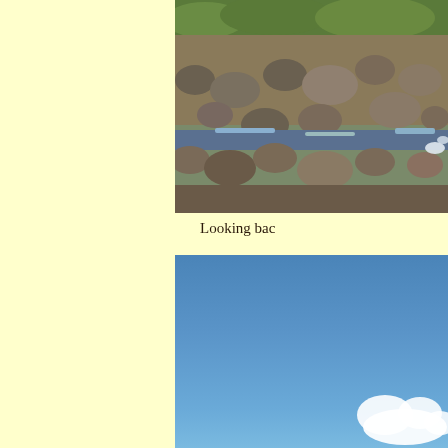[Figure (photo): Rocky mountain stream with boulders and mossy green vegetation visible at the top, water flowing between rocks]
Looking bac
[Figure (photo): Bright blue sky with a white cloud visible in the lower right portion of the image]